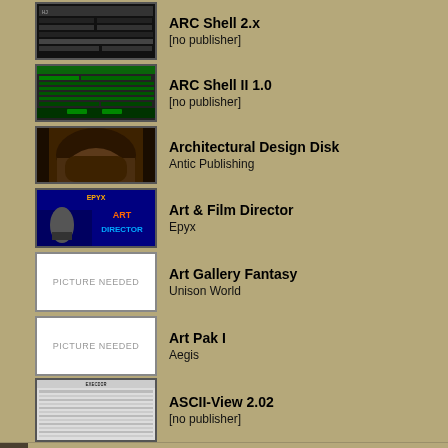[Figure (screenshot): ARC Shell 2.x screenshot thumbnail (green/black text UI)]
ARC Shell 2.x
[no publisher]
[Figure (screenshot): ARC Shell II 1.0 screenshot thumbnail (green/black text UI)]
ARC Shell II 1.0
[no publisher]
[Figure (photo): Architectural Design Disk thumbnail (stone arch/doorway photo)]
Architectural Design Disk
Antic Publishing
[Figure (screenshot): Art & Film Director (Epyx) cover art with robot figure]
Art & Film Director
Epyx
[Figure (other): Picture Needed placeholder for Art Gallery Fantasy]
Art Gallery Fantasy
Unison World
[Figure (other): Picture Needed placeholder for Art Pak I]
Art Pak I
Aegis
[Figure (screenshot): ASCII-View 2.02 screenshot thumbnail (text UI)]
ASCII-View 2.02
[no publisher]